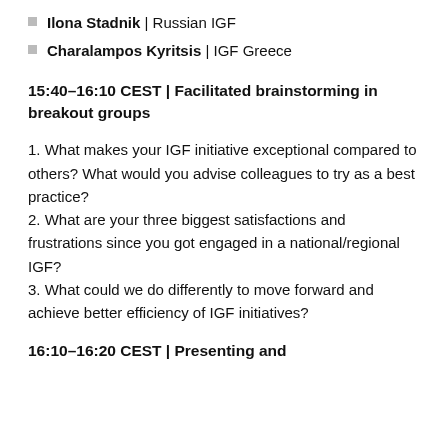Ilona Stadnik | Russian IGF
Charalampos Kyritsis | IGF Greece
15:40–16:10 CEST | Facilitated brainstorming in breakout groups
1. What makes your IGF initiative exceptional compared to others? What would you advise colleagues to try as a best practice?
2. What are your three biggest satisfactions and frustrations since you got engaged in a national/regional IGF?
3. What could we do differently to move forward and achieve better efficiency of IGF initiatives?
16:10–16:20 CEST | Presenting and